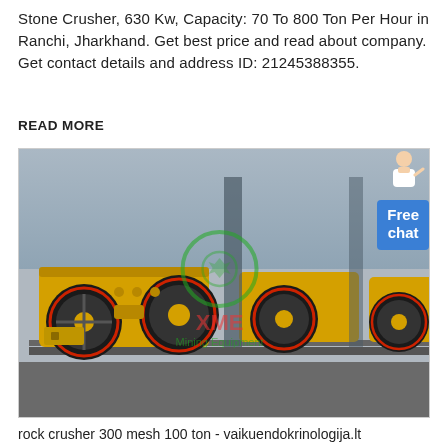Stone Crusher, 630 Kw, Capacity: 70 To 800 Ton Per Hour in Ranchi, Jharkhand. Get best price and read about company. Get contact details and address ID: 21245388355.
READ MORE
[Figure (photo): Photo of yellow stone crusher machines (jaw crushers) lined up in a factory/warehouse setting. Watermark reads 'XME Mining Equipment'. A 'Free chat' badge with a customer service avatar appears in the top-right corner of the image.]
rock crusher 300 mesh 100 ton - vaikuendokrinologija.lt